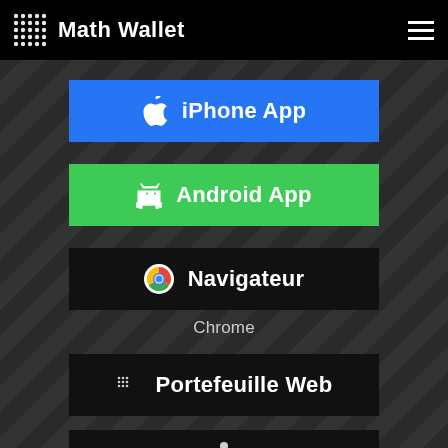Math Wallet
iPhone App
Android App
Navigateur
Chrome
Portefeuille Web